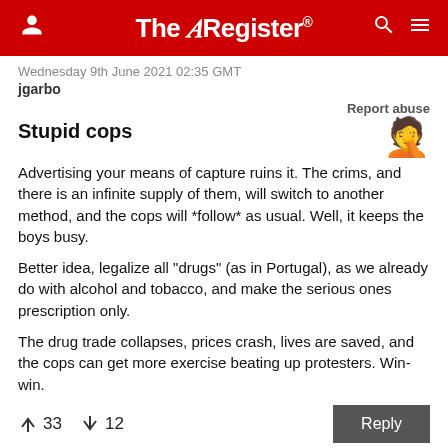The Register
Wednesday 9th June 2021 02:35 GMT
jgarbo
Report abuse
Stupid cops
Advertising your means of capture ruins it. The crims, and there is an infinite supply of them, will switch to another method, and the cops will *follow* as usual. Well, it keeps the boys busy.
Better idea, legalize all "drugs" (as in Portugal), as we already do with alcohol and tobacco, and make the serious ones prescription only.
The drug trade collapses, prices crash, lives are saved, and the cops can get more exercise beating up protesters. Win-win.
↑33  ↓12
Reply